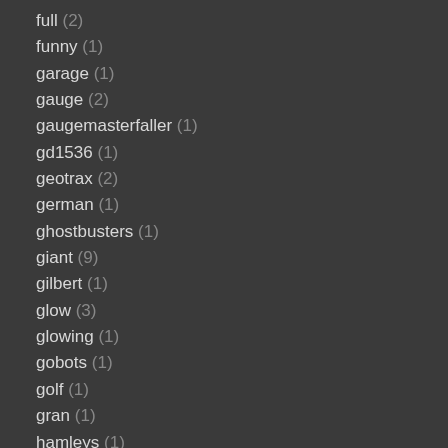full (2)
funny (1)
garage (1)
gauge (2)
gaugemasterfaller (1)
gd1536 (1)
geotrax (2)
german (1)
ghostbusters (1)
giant (9)
gilbert (1)
glow (3)
glowing (1)
gobots (1)
golf (1)
gran (1)
hamleys (1)
hand (3)